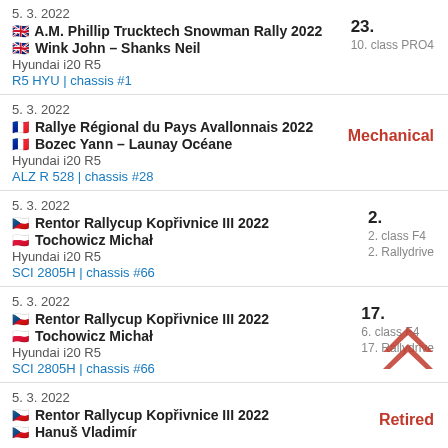5. 3. 2022 | 🇬🇧 A.M. Phillip Trucktech Snowman Rally 2022 | 🇬🇧 Wink John – Shanks Neil | Hyundai i20 R5 | R5 HYU | chassis #1 | 23. | 10. class PRO4
5. 3. 2022 | 🇫🇷 Rallye Régional du Pays Avallonnais 2022 | 🇫🇷 Bozec Yann – Launay Océane | Hyundai i20 R5 | ALZ R 528 | chassis #28 | Mechanical
5. 3. 2022 | 🇨🇿 Rentor Rallycup Kopřivnice III 2022 | 🇵🇱 Tochowicz Michał | Hyundai i20 R5 | SCI 2805H | chassis #66 | 2. | 2. class F4 | 2. Rallydrive
5. 3. 2022 | 🇨🇿 Rentor Rallycup Kopřivnice III 2022 | 🇵🇱 Tochowicz Michał | Hyundai i20 R5 | SCI 2805H | chassis #66 | 17. | 6. class F4 | 17. Rallydrive
5. 3. 2022 | 🇨🇿 Rentor Rallycup Kopřivnice III 2022 | 🇨🇿 Hanuš Vladimír | Retired